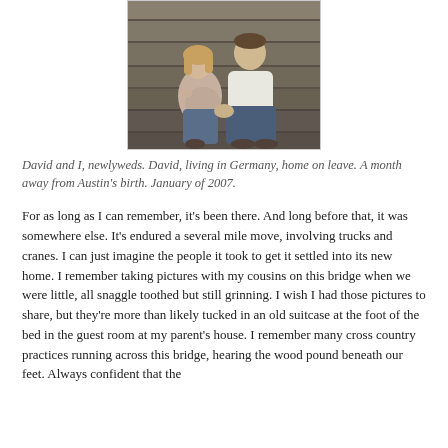[Figure (photo): A couple sitting on wooden steps, the woman appears pregnant, both looking at the camera. The man is wearing a white shirt and jeans.]
David and I, newlyweds. David, living in Germany, home on leave. A month away from Austin's birth. January of 2007.
For as long as I can remember, it's been there. And long before that, it was somewhere else. It's endured a several mile move, involving trucks and cranes. I can just imagine the people it took to get it settled into its new home. I remember taking pictures with my cousins on this bridge when we were little, all snaggle toothed but still grinning. I wish I had those pictures to share, but they're more than likely tucked in an old suitcase at the foot of the bed in the guest room at my parent's house. I remember many cross country practices running across this bridge, hearing the wood pound beneath our feet. Always confident that the